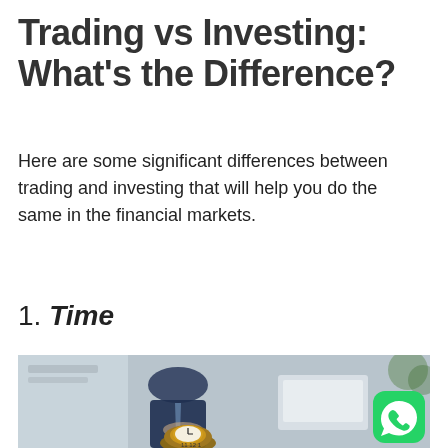Trading vs Investing: What’s the Difference?
Here are some significant differences between trading and investing that will help you do the same in the financial markets.
1. Time
[Figure (photo): A businessman in a suit writing at a desk with a laptop, with a vintage bronze alarm clock in the foreground showing approximately 12 o'clock. A WhatsApp icon is overlaid in the bottom-right corner.]